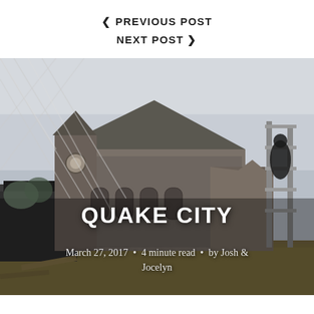< PREVIOUS POST
NEXT POST >
[Figure (photo): Earthquake-damaged stone church building viewed through chain-link fence, with scaffolding on right side and overgrown grass in foreground, overcast sky]
QUAKE CITY
March 27, 2017  •  4 minute read  •  by Josh & Jocelyn